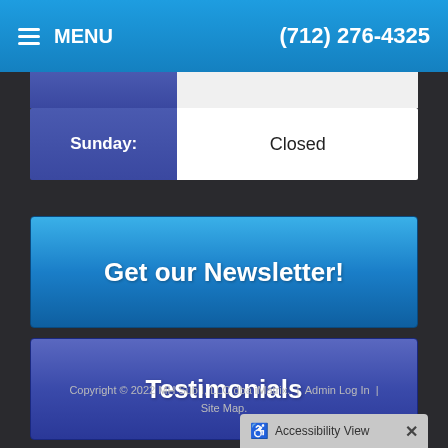MENU | (712) 276-4325
| Day | Hours |
| --- | --- |
| Sunday: | Closed |
Get our Newsletter!
Testimonials
Copyright © 2022 MH Sub I, LLC dba iMatrix. | Admin Log In | Site Map.
Accessibility View